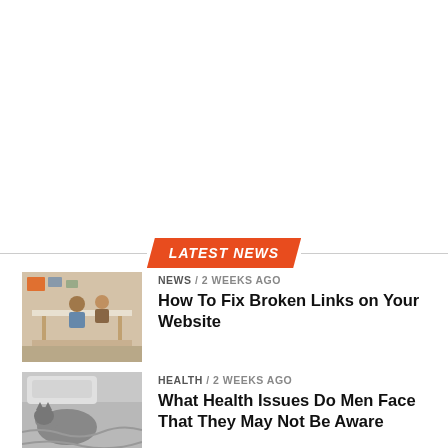LATEST NEWS
[Figure (photo): People sitting around a white table in an office or classroom setting, working together]
NEWS / 2 weeks ago
How To Fix Broken Links on Your Website
[Figure (photo): A cat lying on a bed with rumpled gray bedding/blankets]
HEALTH / 2 weeks ago
What Health Issues Do Men Face That They May Not Be Aware